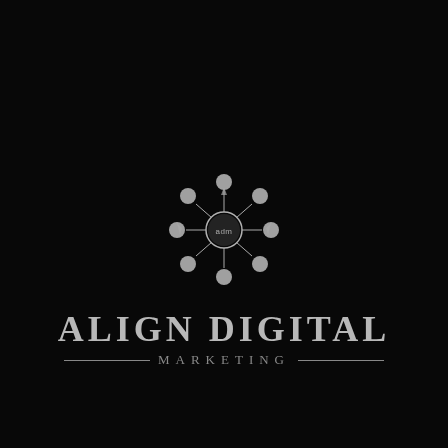[Figure (logo): Align Digital Marketing logo: a circular hub-and-spoke icon with a central circle containing 'adm' text and 8 radiating spokes ending in circles, rendered in silver/grey on black background, above the text 'ALIGN DIGITAL MARKETING' in serif font with decorative horizontal lines flanking the word 'MARKETING']